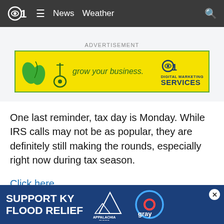CBS 11 — News   Weather
[Figure (screenshot): Advertisement banner: yellow background with green leaves graphic and text 'grow your business. d1 DIGITAL MARKETING SERVICES']
One last reminder, tax day is Monday. While IRS calls may not be as popular, they are definitely still making the rounds, especially right now during tax season.
Click here to read the original column on gazette.com.
Taboola Feed
[Figure (screenshot): Bottom advertisement banner: dark blue background with text 'SUPPORT KY FLOOD RELIEF' and Appalachia Rises logo and Gray Television logo]